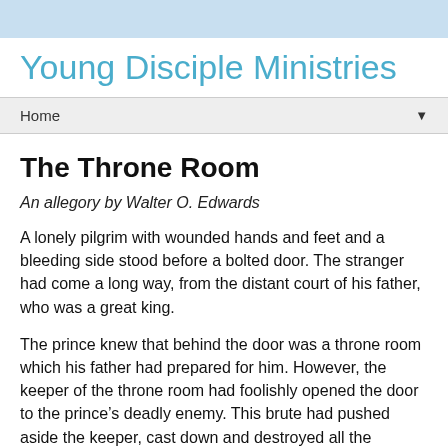Young Disciple Ministries
Young Disciple Ministries
Home
The Throne Room
An allegory by Walter O. Edwards
A lonely pilgrim with wounded hands and feet and a bleeding side stood before a bolted door. The stranger had come a long way, from the distant court of his father, who was a great king.
The prince knew that behind the door was a throne room which his father had prepared for him. However, the keeper of the throne room had foolishly opened the door to the prince’s deadly enemy. This brute had pushed aside the keeper, cast down and destroyed all the beautiful